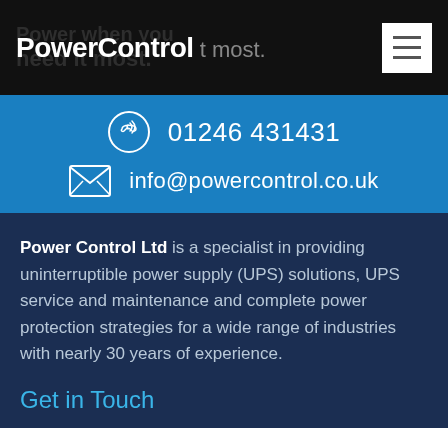PowerControl | most.
01246 431431
info@powercontrol.co.uk
Power Control Ltd is a specialist in providing uninterruptible power supply (UPS) solutions, UPS service and maintenance and complete power protection strategies for a wide range of industries with nearly 30 years of experience.
Get in Touch